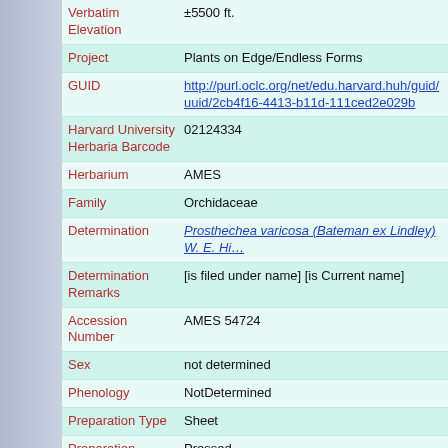| Field | Value |
| --- | --- |
| Verbatim Elevation | ±5500 ft. |
| Project | Plants on Edge/Endless Forms |
| GUID | http://purl.oclc.org/net/edu.harvard.huh/guid/uuid/2cb4f16-4413-b11d-111ced2e029b |
| Harvard University Herbaria Barcode | 02124334 |
| Herbarium | AMES |
| Family | Orchidaceae |
| Determination | Prosthechea varicosa (Bateman ex Lindley) W. E. Hi... |
| Determination Remarks | [is filed under name] [is Current name] |
| Accession Number | AMES 54724 |
| Sex | not determined |
| Phenology | NotDetermined |
| Preparation Type | Sheet |
| Preparation Method | Pressed |